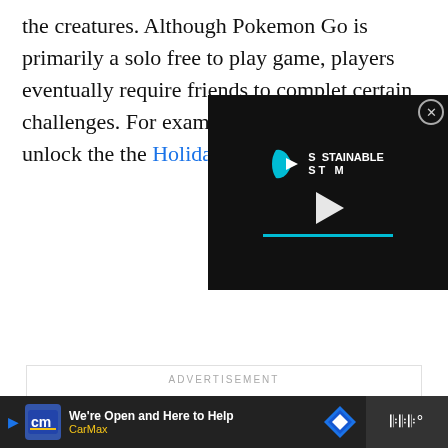the creatures. Although Pokemon Go is primarily a solo free to play game, players eventually require friends to complete certain challenges. For example, [partially obscured] a new Friend' to unlock th[e] the Holidays Friendship C[hallenge]
[Figure (screenshot): A video player overlay showing 'Sustainable Stream' branding with a play button and teal progress bar, on a dark background. Has a close (X) button in the top right.]
[Figure (screenshot): Advertisement placeholder box with 'ADVERTISEMENT' label and three gray dots loading indicator.]
[Figure (screenshot): Bottom ad banner on dark background: CarMax 'We're Open and Here to Help' ad with CM logo, navigation diamond icon on right, and Waze-style icon in separate dark panel on far right.]